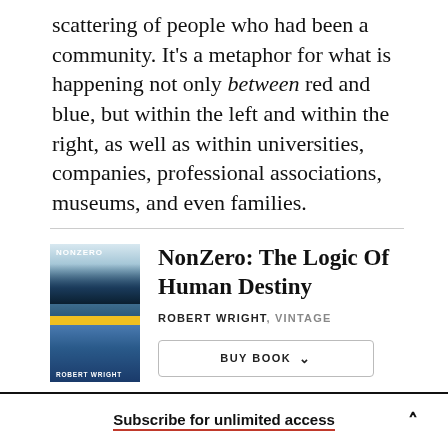scattering of people who had been a community. It’s a metaphor for what is happening not only between red and blue, but within the left and within the right, as well as within universities, companies, professional associations, museums, and even families.
[Figure (illustration): Book cover of NonZero: The Logic Of Human Destiny by Robert Wright (Vintage). Cover shows a cityscape and pyramids.]
NonZero: The Logic Of Human Destiny
ROBERT WRIGHT , VINTAGE
BUY BOOK
Subscribe for unlimited access